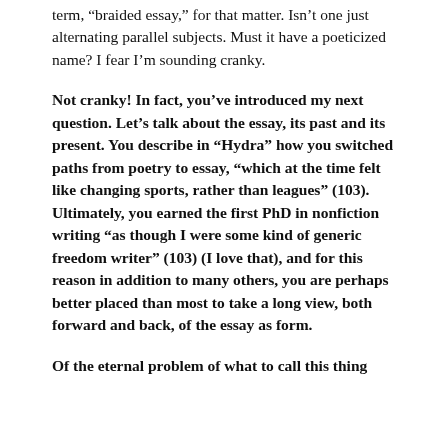term, “braided essay,” for that matter. Isn’t one just alternating parallel subjects. Must it have a poeticized name? I fear I’m sounding cranky.
Not cranky! In fact, you’ve introduced my next question. Let’s talk about the essay, its past and its present. You describe in “Hydra” how you switched paths from poetry to essay, “which at the time felt like changing sports, rather than leagues” (103). Ultimately, you earned the first PhD in nonfiction writing “as though I were some kind of generic freedom writer” (103) (I love that), and for this reason in addition to many others, you are perhaps better placed than most to take a long view, both forward and back, of the essay as form.
Of the eternal problem of what to call this thing